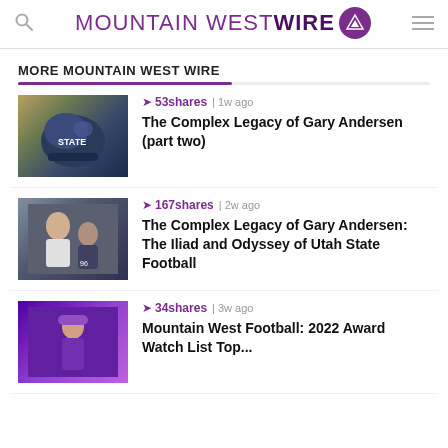MOUNTAIN WEST WIRE
MORE MOUNTAIN WEST WIRE
[Figure (photo): Football helmets with STATE logo]
53 shares | 1w ago
The Complex Legacy of Gary Andersen (part two)
[Figure (photo): Coach on sideline with players]
167 shares | 2w ago
The Complex Legacy of Gary Andersen: The Iliad and Odyssey of Utah State Football
[Figure (photo): Player in purple uniform]
34 shares | 3w ago
Mountain West Football: 2022 Award Watch List Top...